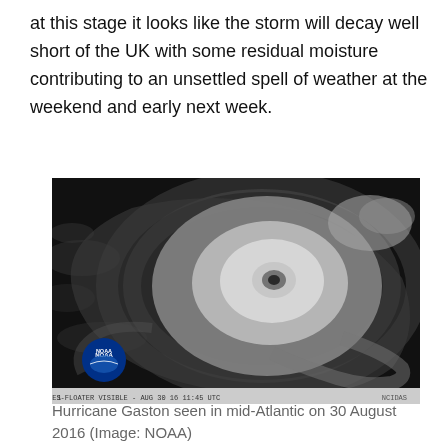at this stage it looks like the storm will decay well short of the UK with some residual moisture contributing to an unsettled spell of weather at the weekend and early next week.
[Figure (photo): Satellite image of Hurricane Gaston seen in mid-Atlantic on 30 August 2016. Black and white GOES-Floater visible satellite image showing the hurricane eye clearly. NOAA logo in bottom left corner. Bottom bar reads: GOES-FLOATER VISIBLE - AUG 30 16 11:45 UTC]
Hurricane Gaston seen in mid-Atlantic on 30 August 2016 (Image: NOAA)